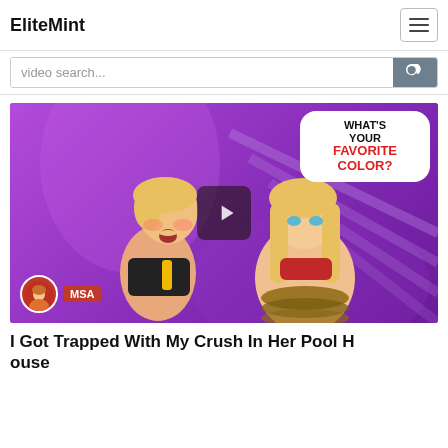EliteMint
video search...
[Figure (illustration): Animated/anime-style video thumbnail showing two cartoon characters on a purple background with a speech bubble reading WHAT'S YOUR FAVORITE COLOR? and MSA branding. A play button overlay is visible in the center.]
I Got Trapped With My Crush In Her Pool House